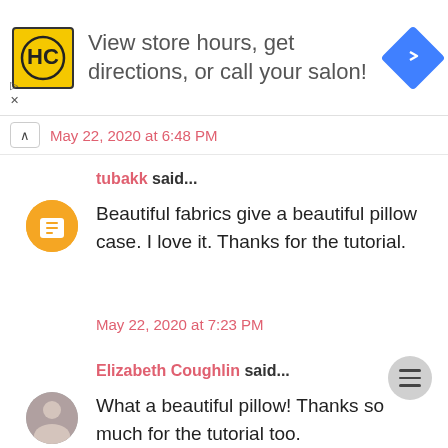[Figure (other): Advertisement banner with HC salon logo, text 'View store hours, get directions, or call your salon!' and a blue navigation diamond icon]
May 22, 2020 at 6:48 PM
tubakk said...
Beautiful fabrics give a beautiful pillow case. I love it. Thanks for the tutorial.
May 22, 2020 at 7:23 PM
Elizabeth Coughlin said...
What a beautiful pillow! Thanks so much for the tutorial too.